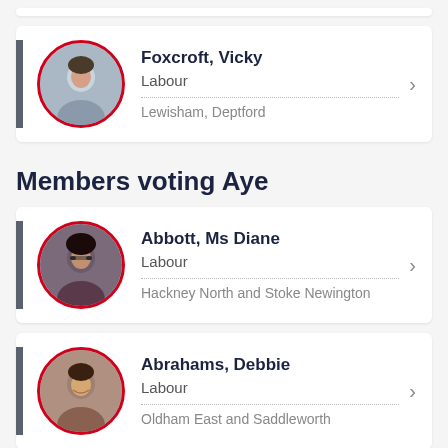Foxcroft, Vicky | Labour | Lewisham, Deptford
Members voting Aye
Abbott, Ms Diane | Labour | Hackney North and Stoke Newington
Abrahams, Debbie | Labour | Oldham East and Saddleworth